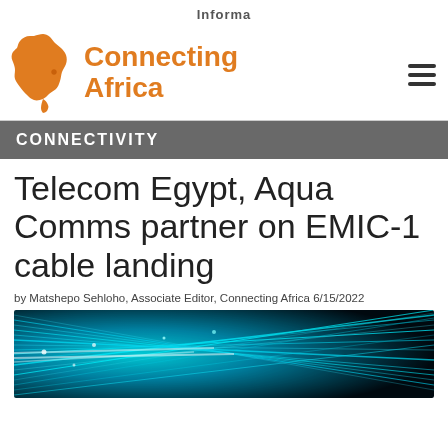Informa
[Figure (logo): Connecting Africa logo with orange Africa continent silhouette and orange bold text 'Connecting Africa']
CONNECTIVITY
Telecom Egypt, Aqua Comms partner on EMIC-1 cable landing
by Matshepo Sehloho, Associate Editor, Connecting Africa 6/15/2022
[Figure (photo): Close-up photo of fiber optic cables with bright cyan/blue light streaks against a dark background]